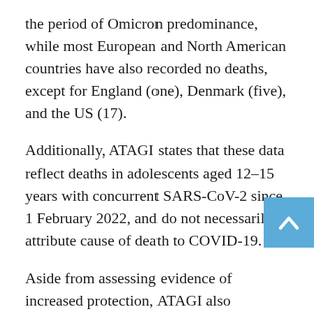the period of Omicron predominance, while most European and North American countries have also recorded no deaths, except for England (one), Denmark (five), and the US (17).
Additionally, ATAGI states that these data reflect deaths in adolescents aged 12–15 years with concurrent SARS-CoV-2 since 1 February 2022, and do not necessarily attribute cause of death to COVID-19.
Aside from assessing evidence of increased protection, ATAGI also considered the very rare risk of vaccine-induced myocarditis when deciding which cohorts should be eligible for a booster.
'Data from the United States and Israel suggest the risk of myocarditis following a third dose of the